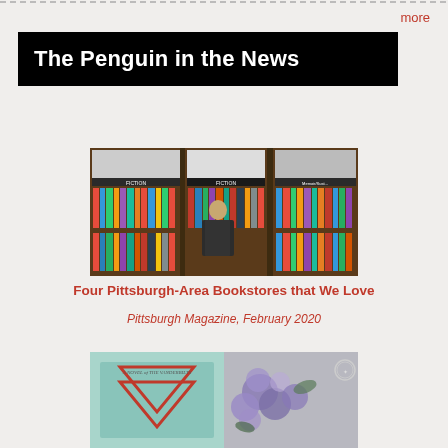more
The Penguin in the News
[Figure (photo): A person browsing shelves in a bookstore with fiction section signs visible]
Four Pittsburgh-Area Bookstores that We Love
Pittsburgh Magazine, February 2020
[Figure (photo): Book cover and flowers photo collage]